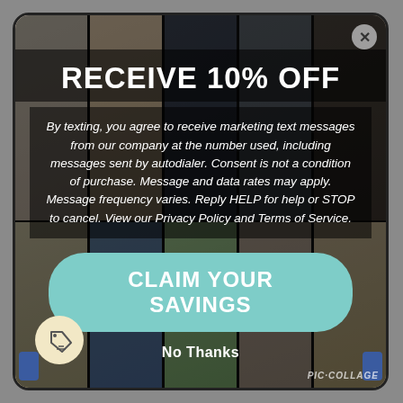[Figure (photo): Background photo collage of women in fashion clothing and accessories, shown in vertical strips with dark overlay]
RECEIVE 10% OFF
By texting, you agree to receive marketing text messages from our company at the number used, including messages sent by autodialer. Consent is not a condition of purchase. Message and data rates may apply. Message frequency varies. Reply HELP for help or STOP to cancel. View our Privacy Policy and Terms of Service.
CLAIM YOUR SAVINGS
No Thanks